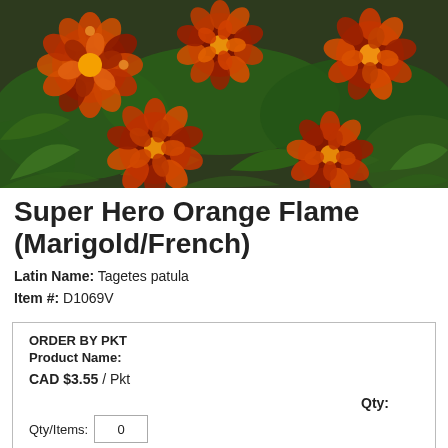[Figure (photo): Marigold French flowers (Super Hero Orange Flame) with orange-red blooms and green foliage in a dark tray on a white background.]
Super Hero Orange Flame (Marigold/French)
Latin Name: Tagetes patula
Item #: D1069V
| ORDER BY PKT |
| Product Name: |
| CAD $3.55 / Pkt |
| Qty: |
| Qty/Items: | 0 |